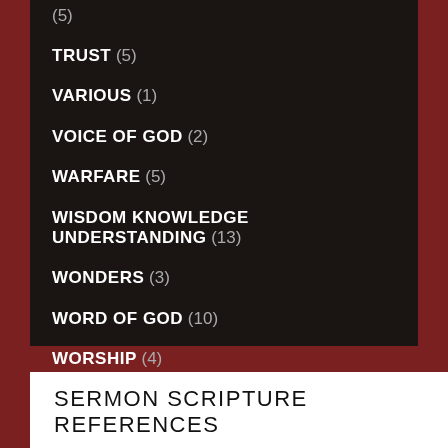(5) — truncated top
TRUST (5)
VARIOUS (1)
VOICE OF GOD (2)
WARFARE (5)
WISDOM KNOWLEDGE UNDERSTANDING (13)
WONDERS (3)
WORD OF GOD (10)
WORSHIP (4)
SERMON SCRIPTURE REFERENCES
ACTS (112)
AMOS (3)
COLOSSIANS (45)